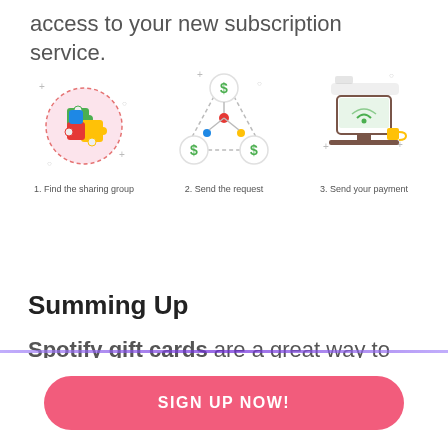access to your new subscription service.
[Figure (infographic): Three-step process icons: 1. Find the sharing group (puzzle pieces icon), 2. Send the request (dollar signs connected with dots icon), 3. Send your payment (computer desk icon)]
Summing Up
Spotify gift cards are a great way to treat someone you love to the gift of music. If they redeem their gift card, they will get access to unlimited ad-free
SIGN UP NOW!